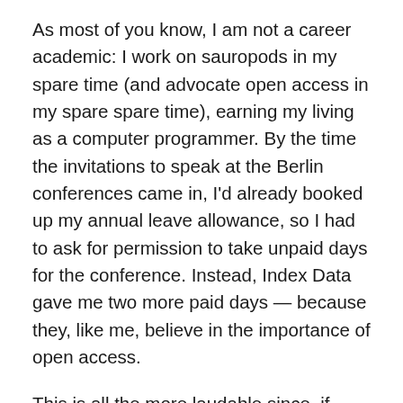As most of you know, I am not a career academic: I work on sauropods in my spare time (and advocate open access in my spare spare time), earning my living as a computer programmer. By the time the invitations to speak at the Berlin conferences came in, I'd already booked up my annual leave allowance, so I had to ask for permission to take unpaid days for the conference. Instead, Index Data gave me two more paid days — because they, like me, believe in the importance of open access.
This is all the more laudable since, if anything, universal open access will harm our business. A significant part of what we build is authentication mechanisms to allow people (legitimate) access to paywalled resources. Once everything is open, no-one will need to pay us to do that. It's greatly to Index Data's credit that, despite this, they want to help us push on towards a goal that will benefit